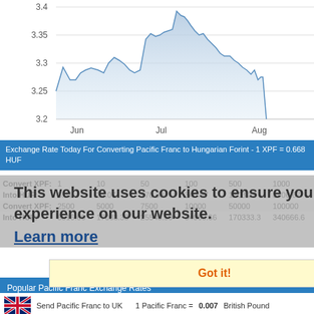[Figure (continuous-plot): Area/line chart showing exchange rate from Jun to Aug, y-axis values 3.2 to 3.4, with shaded area. Rate peaks near 3.4 around early July then drops.]
Exchange Rate Today For Converting Pacific Franc to Hungarian Forint - 1 XPF = 0.668 HUF
| Convert XPF: | 1 | 10 | 50 | 100 | 500 | 1000 |
| --- | --- | --- | --- | --- | --- | --- |
| Into HUF: | 3.41 | 34.07 | 170.33 | 340.67 | 1703.33 | 3406.67 |
| Convert XPF: | 2500 | 5000 | 7500 | 10000 | 50000 | 100000 |
| Into HUF: | 8516.66 | 17033.33 | 25549.99 | 34066.66 | 170333.3 | 340666.6 |
This website uses cookies to ensure you get the best experience on our website. Learn more
Got it!
Popular Pacific Franc Exchange Rates
Send Pacific Franc to UK   1 Pacific Franc = 0.007 British Pound